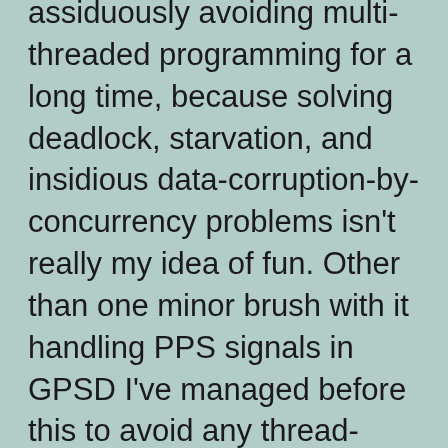assiduously avoiding multi-threaded programming for a long time, because solving deadlock, starvation, and insidious data-corruption-by-concurrency problems isn't really my idea of fun. Other than one minor brush with it handling PPS signals in GPSD I've managed before this to avoid any thread-entanglement at all.
But I'm still trying to make cvs-fast-export run faster. About a week ago an Aussie hacker named David Leonard landed a brilliant patch series in my mailbox. Familiar story: has a huge, gnarly CVS repo that needs converting,